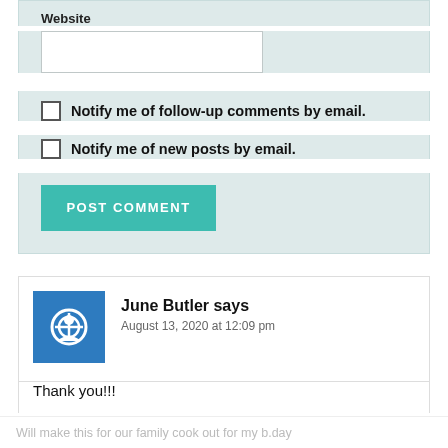Website
Notify me of follow-up comments by email.
Notify me of new posts by email.
POST COMMENT
June Butler says
August 13, 2020 at 12:09 pm
Thank you!!!
Will make this for our family cook out for my b.day